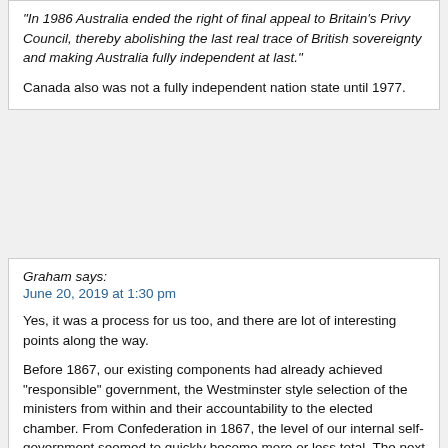"In 1986 Australia ended the right of final appeal to Britain's Privy Council, thereby abolishing the last real trace of British sovereignty and making Australia fully independent at last."
Canada also was not a fully independent nation state until 1977.
Graham says:
June 20, 2019 at 1:30 pm
Yes, it was a process for us too, and there are lot of interesting points along the way.
Before 1867, our existing components had already achieved “responsible” government, the Westminster style selection of the ministers from within and their accountability to the elected chamber. From Confederation in 1867, the level of our internal self-government seemed to quickly become more or less total. The next couple of generations amounted to testing the waters of international affairs, with some halting efforts to get representation in Washington and to influence British foreign policy toward the US. A bit like how sub-national governments now operate.
WW1 was really decisive for us, too. Like the Aussies, we made a huge military contribution. Like them and the other Dominions, we got to take part in an imperial war cabinet, the only real substitute for central institutions at the empire